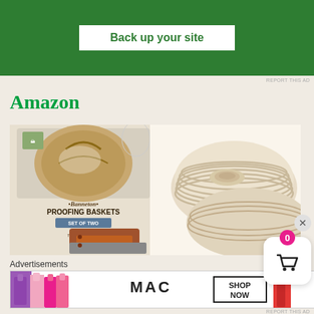[Figure (screenshot): Green advertisement banner with white button saying 'Back up your site']
REPORT THIS AD
Amazon
[Figure (photo): Product image showing Banneton Proofing Baskets set of two with box packaging, rattan baskets, and a dough scraper]
Advertisements
[Figure (screenshot): MAC cosmetics advertisement with colorful lipsticks and 'SHOP NOW' button]
REPORT THIS AD